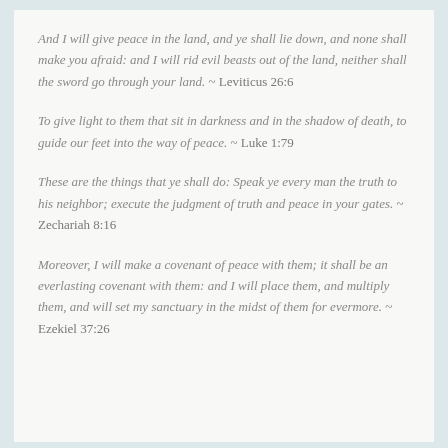And I will give peace in the land, and ye shall lie down, and none shall make you afraid: and I will rid evil beasts out of the land, neither shall the sword go through your land. ~ Leviticus 26:6
To give light to them that sit in darkness and in the shadow of death, to guide our feet into the way of peace. ~ Luke 1:79
These are the things that ye shall do: Speak ye every man the truth to his neighbor; execute the judgment of truth and peace in your gates. ~ Zechariah 8:16
Moreover, I will make a covenant of peace with them; it shall be an everlasting covenant with them: and I will place them, and multiply them, and will set my sanctuary in the midst of them for evermore. ~ Ezekiel 37:26